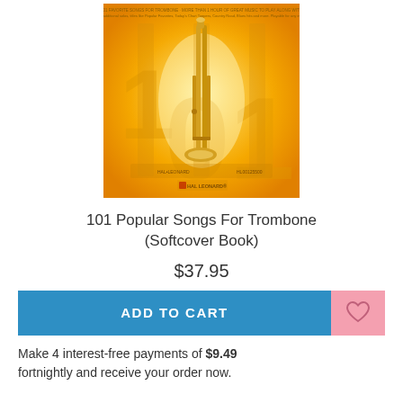[Figure (illustration): Book cover for '101 Popular Songs For Trombone' — yellow/golden background with a trombone illustrated in the center and large '101' text, Hal Leonard publisher logo at bottom]
101 Popular Songs For Trombone (Softcover Book)
$37.95
ADD TO CART
Make 4 interest-free payments of $9.49 fortnightly and receive your order now.